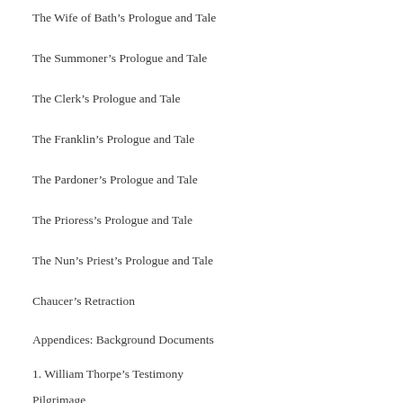The Wife of Bath's Prologue and Tale
The Summoner's Prologue and Tale
The Clerk's Prologue and Tale
The Franklin's Prologue and Tale
The Pardoner's Prologue and Tale
The Prioress's Prologue and Tale
The Nun's Priest's Prologue and Tale
Chaucer's Retraction
Appendices: Background Documents
1. William Thorpe's Testimony
Pilgrimage